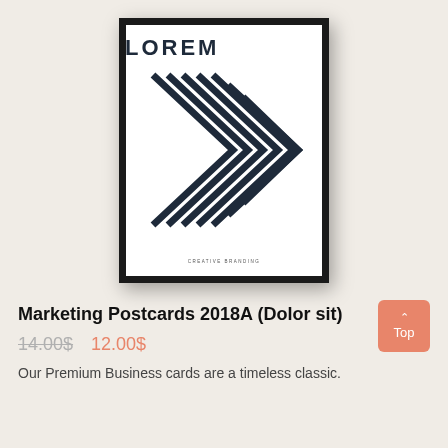[Figure (photo): A framed poster with the word LOREM at the top in bold navy text, and large nested chevron/arrow shapes in navy on a white background, with CREATIVE BRANDING text at the bottom, displayed in a black frame against a beige background.]
Marketing Postcards 2018A (Dolor sit)
14.00$   12.00$
Our Premium Business cards are a timeless classic.